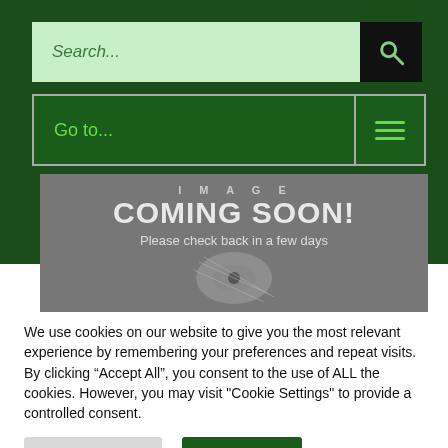Search...
Go to...
[Figure (illustration): Image coming soon placeholder banner with grey background showing 'IMAGE COMING SOON!' text and 'Please check back in a few days' subtitle, with a partially visible circular logo at bottom]
We use cookies on our website to give you the most relevant experience by remembering your preferences and repeat visits. By clicking “Accept All”, you consent to the use of ALL the cookies. However, you may visit "Cookie Settings" to provide a controlled consent.
Cookie Settings
Accept All